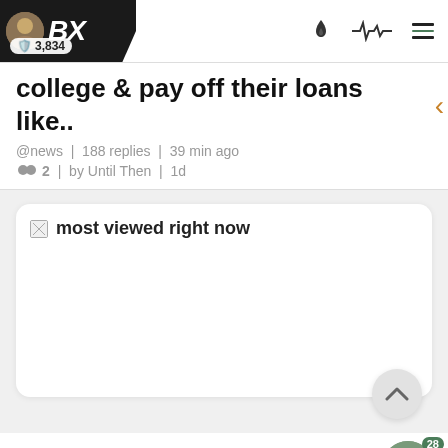BX | 3,834
college & pay off their loans like..
@news | 188 replies | 39 min ago
2 | by Until Then | 1d
most viewed right now
BOX Wild 30 seconds sheesh. That second one hurt me...
@sports | 11 replies | 62 min ago